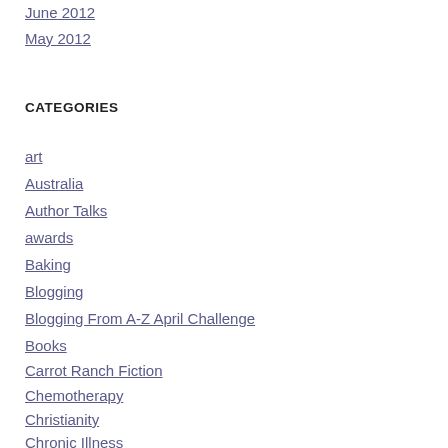June 2012
May 2012
CATEGORIES
art
Australia
Author Talks
awards
Baking
Blogging
Blogging From A-Z April Challenge
Books
Carrot Ranch Fiction
Chemotherapy
Christianity
Chronic Illness
Compassion